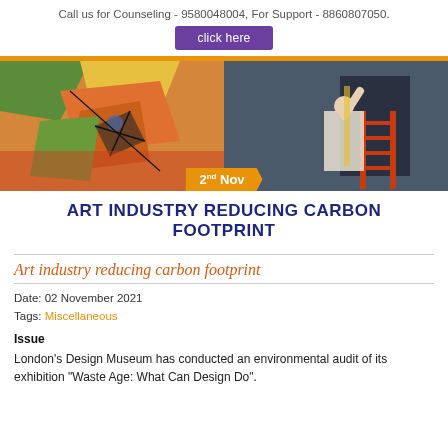Call us for Counseling - 9580048004, For Support - 8860807050.
click here
[Figure (photo): Split image: left side shows a colorful abstract/cubist painting (Picasso-style); right side shows a person on an orange ladder installing or adjusting something on a dark gray wall. Orange banner at bottom reads '2nd Nov'.]
ART INDUSTRY REDUCING CARBON FOOTPRINT
Art industry reducing carbon footprint
Date: 02 November 2021
Tags: Miscellaneous
Issue
London’s Design Museum has conducted an environmental audit of its exhibition “Waste Age: What Can Design Do”.